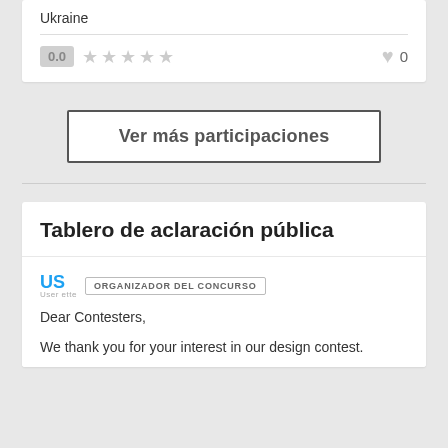Ukraine
[Figure (infographic): Rating row with score box showing 0.0, five empty star icons, a heart icon and the number 0]
Ver más participaciones
Tablero de aclaración pública
[Figure (logo): US logo in blue with text 'ORGANIZADOR DEL CONCURSO' badge]
Dear Contesters,
We thank you for your interest in our design contest.